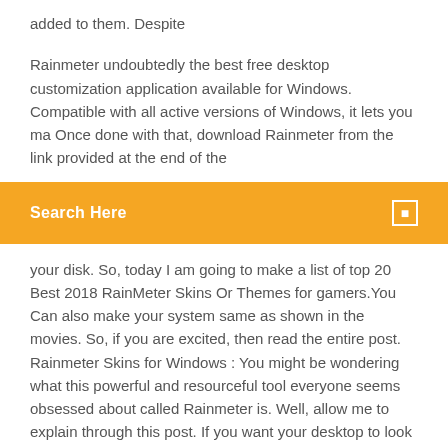added to them. Despite
Rainmeter undoubtedly the best free desktop customization application available for Windows. Compatible with all active versions of Windows, it lets you ma Once done with that, download Rainmeter from the link provided at the end of the
Search Here
your disk. So, today I am going to make a list of top 20 Best 2018 RainMeter Skins Or Themes for gamers.You Can also make your system same as shown in the movies. So, if you are excited, then read the entire post. Rainmeter Skins for Windows : You might be wondering what this powerful and resourceful tool everyone seems obsessed about called Rainmeter is. Well, allow me to explain through this post. If you want your desktop to look gorgeous then you need to pick these best rainmeter skins from the lot. We have selected exclusives for you.